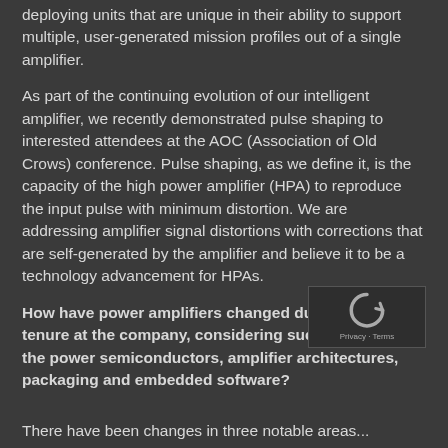deploying units that are unique in their ability to support multiple, user-generated mission profiles out of a single amplifier.
As part of the continuing evolution of our intelligent amplifier, we recently demonstrated pulse shaping to interested attendees at the AOC (Association of Old Crows) conference. Pulse shaping, as we define it, is the capacity of the high power amplifier (HPA) to reproduce the input pulse with minimum distortion. We are addressing amplifier signal distortions with corrections that are self-generated by the amplifier and believe it to be a technology advancement for HPAs.
How have power amplifiers changed during your tenure at the company, considering such aspects as the power semiconductors, amplifier architectures, packaging and embedded software?
There have been changes in three notable areas...